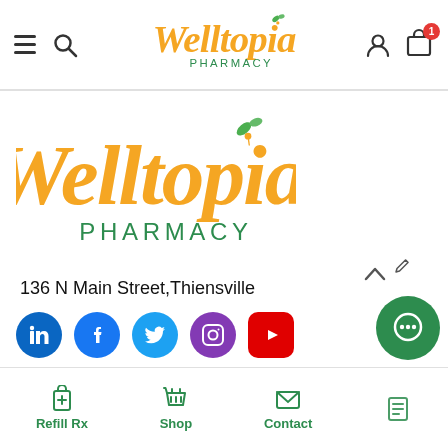[Figure (logo): Welltopia Pharmacy logo in navigation bar — cursive orange 'Welltopia' text with green leaf accent and green 'PHARMACY' text below]
[Figure (screenshot): Welltopia Pharmacy website footer page showing logo, address, social media icons, Links section, and Working Hours heading]
136 N Main Street,Thiensville
Links
WORKING HOURS